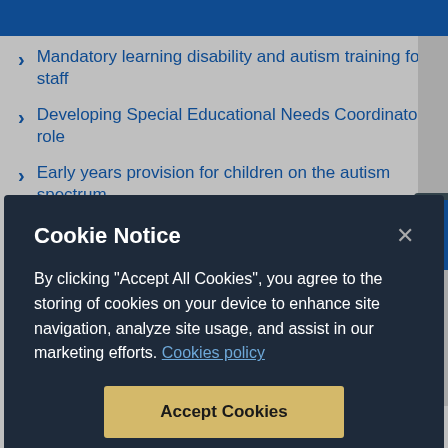Mandatory learning disability and autism training for staff
Developing Special Educational Needs Coordinator role
Early years provision for children on the autism spectrum
Supporting SEN in the early years
(partial, truncated by overlay)
Cookie Notice

By clicking “Accept All Cookies”, you agree to the storing of cookies on your device to enhance site navigation, analyze site usage, and assist in our marketing efforts. Cookies policy

Accept Cookies

Cookies Settings